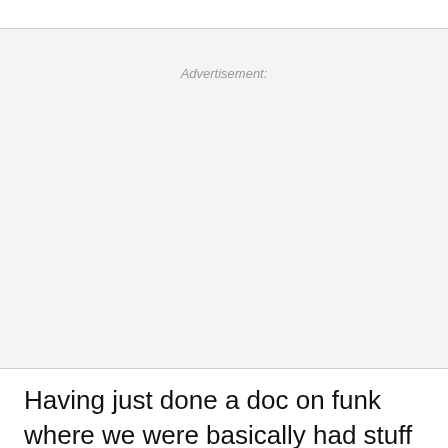Advertisement:
Having just done a doc on funk where we were basically had stuff from talking heads and we had found footage that had to be intertwined...